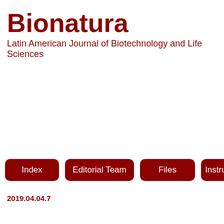Bionatura
Latin American Journal of Biotechnology and Life Sciences
[Figure (other): Navigation buttons: Index, Editorial Team, Files, Instruct (partially visible)]
2019.04.04.7